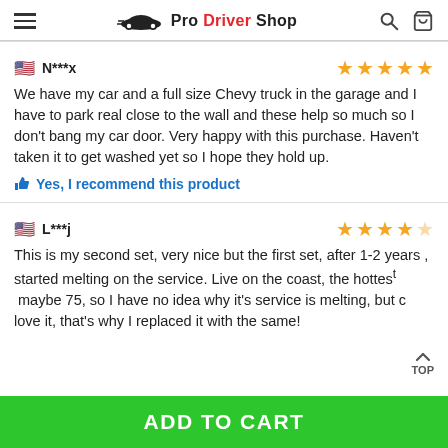Pro Driver Shop
N***x
We have my car and a full size Chevy truck in the garage and I have to park real close to the wall and these help so much so I don't bang my car door. Very happy with this purchase. Haven't taken it to get washed yet so I hope they hold up.
Yes, I recommend this product
L***j
This is my second set, very nice but the first set, after 1-2 years , started melting on the service. Live on the coast, the hottest maybe 75, so I have no idea why it's service is melting, but c love it, that's why I replaced it with the same!